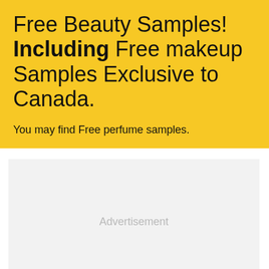Free Beauty Samples! Including Free makeup Samples Exclusive to Canada.
You may find Free perfume samples.
[Figure (other): Advertisement placeholder box with light gray background and the word 'Advertisement' centered in gray text.]